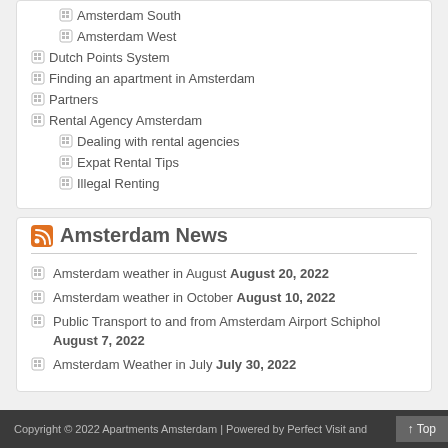Amsterdam South
Amsterdam West
Dutch Points System
Finding an apartment in Amsterdam
Partners
Rental Agency Amsterdam
Dealing with rental agencies
Expat Rental Tips
Illegal Renting
Amsterdam News
Amsterdam weather in August August 20, 2022
Amsterdam weather in October August 10, 2022
Public Transport to and from Amsterdam Airport Schiphol August 7, 2022
Amsterdam Weather in July July 30, 2022
Copyright © 2022 Apartments Amsterdam | Powered by Perfect Visit and ... ↑ Top